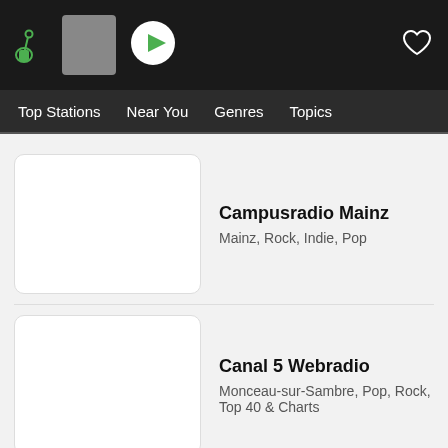[Figure (screenshot): App top bar with logo (green headphone icon with dot), grey thumbnail placeholder, green circular play button, and heart/favorite icon on the right]
Top Stations  Near You  Genres  Topics
Campusradio Mainz
Mainz, Rock, Indie, Pop
Canal 5 Webradio
Monceau-sur-Sambre, Pop, Rock, Top 40 & Charts
canal 98
Santiago de Puriscal, Rock, 80s, Pop
Canal FUZZ radio
Hard Rock, Heavy Metal, Pop, Rock